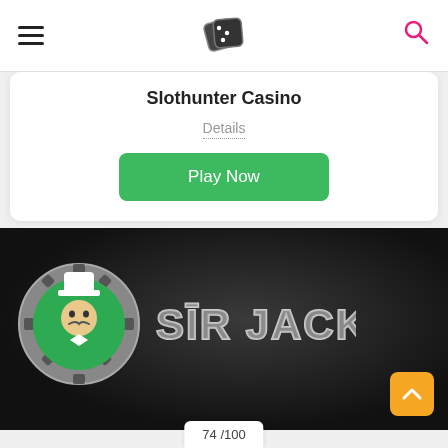Navigation header with hamburger menu, dice logo, and search icon
Slothunter Casino
Details
Play Now
[Figure (logo): Sir Jackpot casino logo: casino chip with gentleman figure on dark background with 'SIR JACKPOT' text with spade symbol]
74 /100